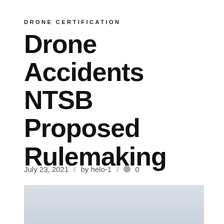DRONE CERTIFICATION
Drone Accidents NTSB Proposed Rulemaking
July 23, 2021  /  by helo-1  /  💬 0
[Figure (photo): Three people standing outdoors on a tarmac or field under a cloudy sky. The person in the center is wearing an NTSB vest and holding up a small drone. The person on the left is holding something, and the person on the right is in dark clothing.]